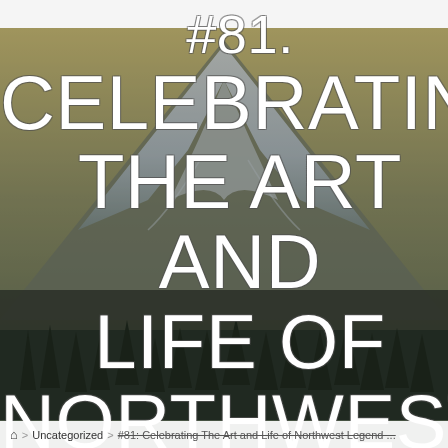[Figure (photo): Background photo of a snow-capped mountain (appears to be Mt. Rainier) at dusk with dark tree silhouettes at the base and a golden/olive sky. Large white thin-weight text overlaid reads: #81. CELEBRATING THE ART AND LIFE OF NORTHWEST LEGEND JACK...]
#81. CELEBRATING THE ART AND LIFE OF NORTHWEST LEGEND JACK...
🏠 > Uncategorized > #81: Celebrating The Art and Life of Northwest Legend ...